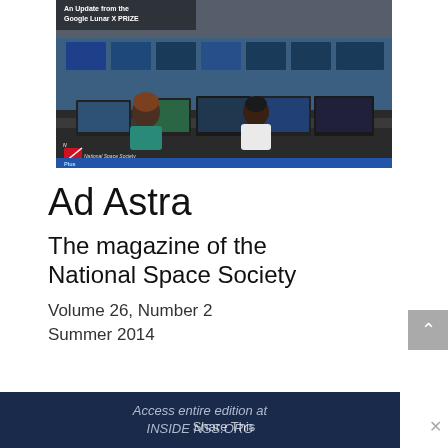[Figure (photo): Photo of a mission control room with multiple large monitors showing data screens; two people are visible at workstations. Text overlay reads 'An Update from the Google Lunar X PRIZE'. National Space Society logo is visible in the lower left of the image.]
Ad Astra
The magazine of the National Space Society
Volume 26, Number 2
Summer 2014
Access entire edition at
INSIDE NSS.ORG